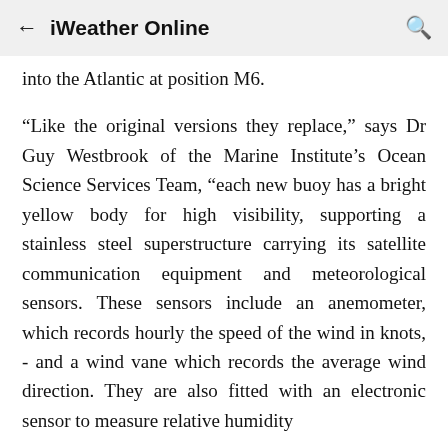iWeather Online
into the Atlantic at position M6.
“Like the original versions they replace,” says Dr Guy Westbrook of the Marine Institute’s Ocean Science Services Team, “each new buoy has a bright yellow body for high visibility, supporting a stainless steel superstructure carrying its satellite communication equipment and meteorological sensors. These sensors include an anemometer, which records hourly the speed of the wind in knots, - and a wind vane which records the average wind direction. They are also fitted with an electronic sensor to measure relative humidity